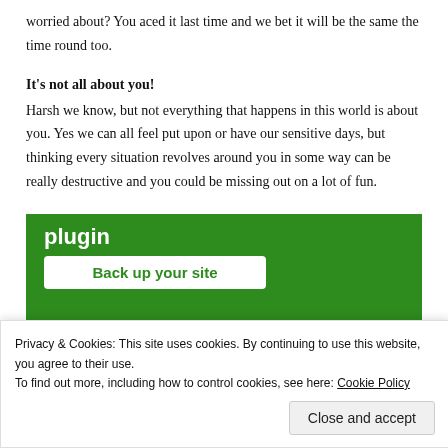worried about? You aced it last time and we bet it will be the same the time round too.
It's not all about you!
Harsh we know, but not everything that happens in this world is about you. Yes we can all feel put upon or have our sensitive days, but thinking every situation revolves around you in some way can be really destructive and you could be missing out on a lot of fun.
[Figure (screenshot): Green plugin banner showing 'plugin' text and a 'Back up your site' button]
Privacy & Cookies: This site uses cookies. By continuing to use this website, you agree to their use.
To find out more, including how to control cookies, see here: Cookie Policy
Close and accept